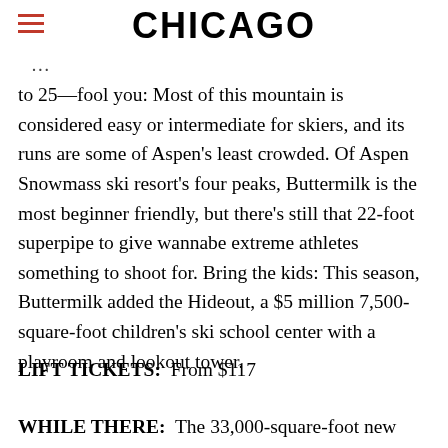CHICAGO
to 25—fool you: Most of this mountain is considered easy or intermediate for skiers, and its runs are some of Aspen's least crowded. Of Aspen Snowmass ski resort's four peaks, Buttermilk is the most beginner friendly, but there's still that 22-foot superpipe to give wannabe extreme athletes something to shoot for. Bring the kids: This season, Buttermilk added the Hideout, a $5 million 7,500-square-foot children's ski school center with a playroom and lookout tower.
LIFT TICKETS:  From $117
WHILE THERE:  The 33,000-square-foot new home of